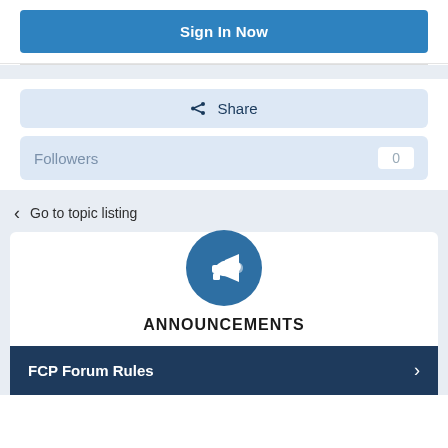Sign In Now
Share
Followers 0
< Go to topic listing
[Figure (illustration): Blue circle with white megaphone/bullhorn icon]
ANNOUNCEMENTS
FCP Forum Rules >